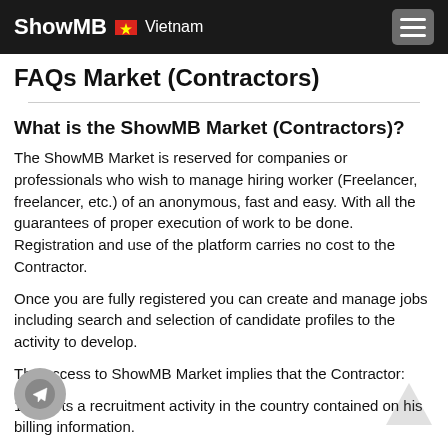ShowMB Vietnam
FAQs Market (Contractors)
What is the ShowMB Market (Contractors)?
The ShowMB Market is reserved for companies or professionals who wish to manage hiring worker (Freelancer, freelancer, etc.) of an anonymous, fast and easy. With all the guarantees of proper execution of work to be done. Registration and use of the platform carries no cost to the Contractor.
Once you are fully registered you can create and manage jobs including search and selection of candidate profiles to the activity to develop.
The access to ShowMB Market implies that the Contractor:
1. Exerts a recruitment activity in the country contained on his billing information.
ows and applies the contract and billing laws relevant to his country and case.